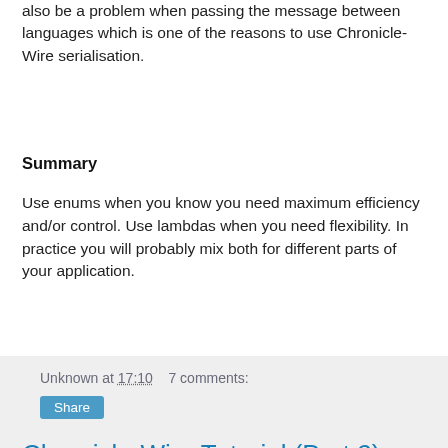also be a problem when passing the message between languages which is one of the reasons to use Chronicle-Wire serialisation.
Summary
Use enums when you know you need maximum efficiency and/or control. Use lambdas when you need flexibility. In practice you will probably mix both for different parts of your application.
Unknown at 17:10    7 comments:
Share
Chronicle-Wire Tutorial (Part 2): Working with Documents
In Part 1 we saw the basics of how to use Chronicle-Wire to